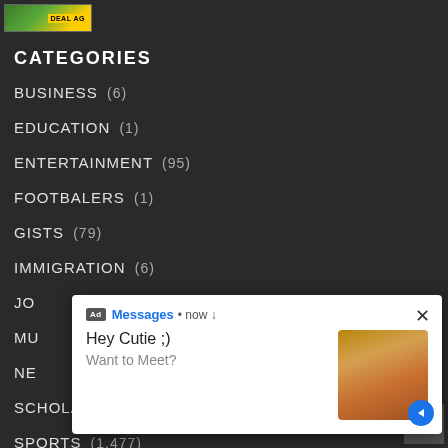[Figure (illustration): Top banner/ad image with green and yellow colors and text 'DEAL AG']
CATEGORIES
BUSINESS (6)
EDUCATION (1)
ENTERTAINMENT (95)
FOOTBALERS (1)
GISTS (79)
IMMIGRATION (6)
JO...
MU...
NE...
SCHOLARSHIP (2)
SPORTS (1,477)
[Figure (screenshot): Ad popup overlay: Messages • now. Hey Cutie ;) Want to Meet? with an image of a person.]